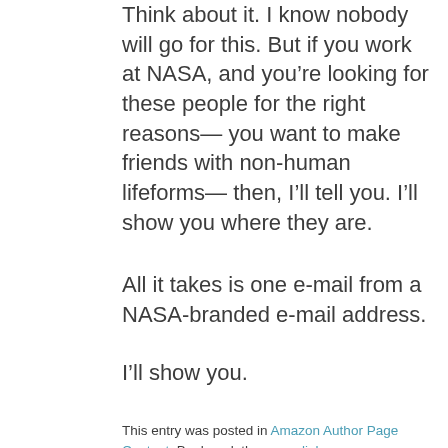Think about it. I know nobody will go for this. But if you work at NASA, and you're looking for these people for the right reasons— you want to make friends with non-human lifeforms— then, I'll tell you. I'll show you where they are.
All it takes is one e-mail from a NASA-branded e-mail address.
I'll show you.
This entry was posted in Amazon Author Page Content. Bookmark the permalink.